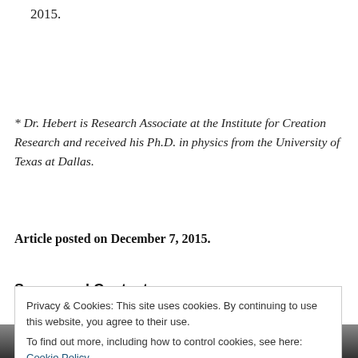2015.
* Dr. Hebert is Research Associate at the Institute for Creation Research and received his Ph.D. in physics from the University of Texas at Dallas.
Article posted on December 7, 2015.
Sponsored Content
Privacy & Cookies: This site uses cookies. By continuing to use this website, you agree to their use.
To find out more, including how to control cookies, see here: Cookie Policy
Close and accept
[Figure (photo): Black and white photo strip at bottom of page]